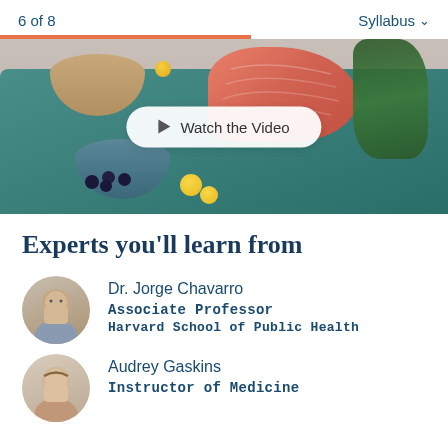6 of 8   Syllabus
[Figure (photo): Food photo showing salmon fillet, blueberries in a bowl, yellow cherry tomatoes, and leafy greens on a teal cloth background, with a 'Watch the Video' play button overlay]
Experts you'll learn from
Dr. Jorge Chavarro
Associate Professor
Harvard School of Public Health
Audrey Gaskins
Instructor of Medicine